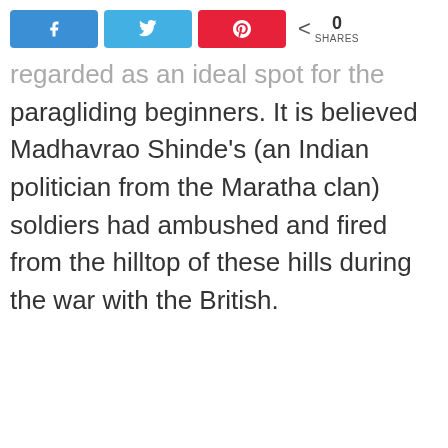Social share buttons: Facebook, Twitter, Pinterest | 0 SHARES
regarded as an ideal spot for the paragliding beginners. It is believed Madhavrao Shinde’s (an Indian politician from the Maratha clan) soldiers had ambushed and fired from the hilltop of these hills during the war with the British.